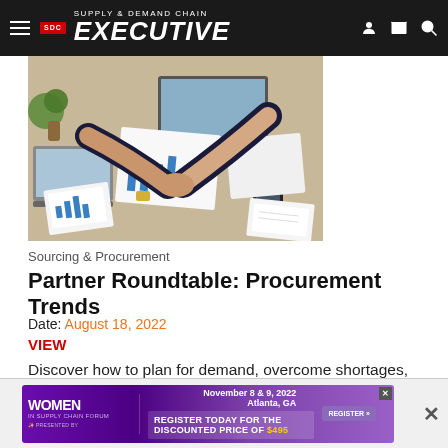Supply & Demand Chain Executive
[Figure (photo): Aerial view of two business people in dark suits shaking hands over a desk covered with laptops, charts, papers with bar graphs, and mobile phones]
Sourcing & Procurement
Partner Roundtable: Procurement Trends
Date: August 18, 2022
VIEW
Discover how to plan for demand, overcome shortages, modernize payment structure and achieve resiliency for the future of the supply chain.
[Figure (advertisement): Women in Supply Chain Forum advertisement banner. November 8 & 9, 2022, Atlanta, GA. Register Today for the Discounted Price of $495. Register button.]